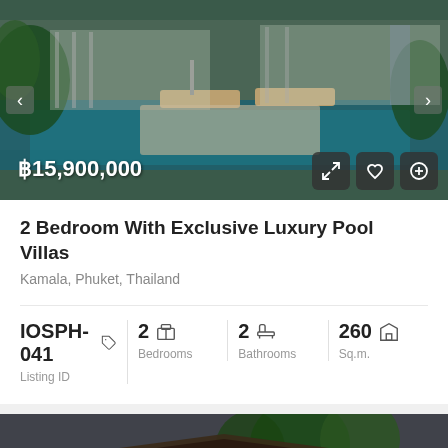[Figure (photo): Luxury pool villa with outdoor seating area and swimming pool reflecting the villa]
฿15,900,000
2 Bedroom With Exclusive Luxury Pool Villas
Kamala, Phuket, Thailand
| Listing ID | Bedrooms | Bathrooms | Sq.m. |
| --- | --- | --- | --- |
| IOSPH-041 | 2 | 2 | 260 |
[Figure (photo): Partially visible second listing showing a luxury villa with dark wood roof and palm trees, with FOR SALE, LUXURY VILLA, NEW LISTING!, OCEANFRO... tags]